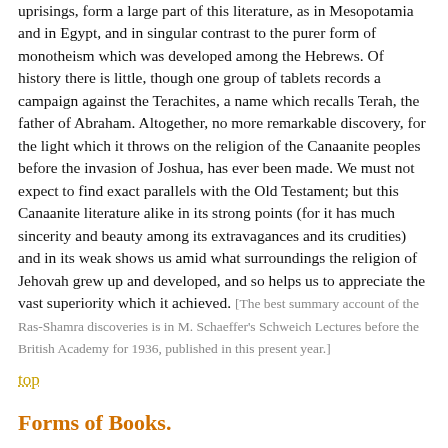uprisings, form a large part of this literature, as in Mesopotamia and in Egypt, and in singular contrast to the purer form of monotheism which was developed among the Hebrews. Of history there is little, though one group of tablets records a campaign against the Terachites, a name which recalls Terah, the father of Abraham. Altogether, no more remarkable discovery, for the light which it throws on the religion of the Canaanite peoples before the invasion of Joshua, has ever been made. We must not expect to find exact parallels with the Old Testament; but this Canaanite literature alike in its strong points (for it has much sincerity and beauty among its extravagances and its crudities) and in its weak shows us amid what surroundings the religion of Jehovah grew up and developed, and so helps us to appreciate the vast superiority which it achieved. [The best summary account of the Ras-Shamra discoveries is in M. Schaeffer's Schweich Lectures before the British Academy for 1936, published in this present year.]
top
Forms of Books.
We have now seen that, when the Hebrews left the land of